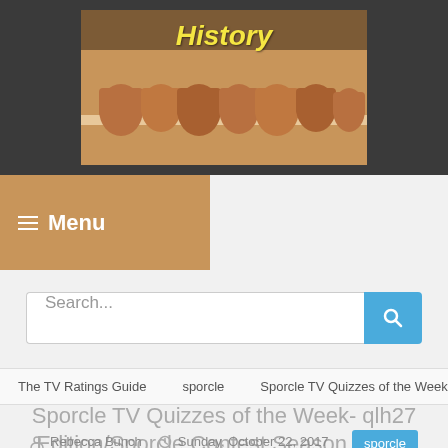[Figure (photo): Header image showing shelf with clay/terracotta pots and yellow italic 'History' text overlaid]
☰ Menu
Search...
The TV Ratings Guide    sporcle    Sporcle TV Quizzes of the Week-
Sporcle TV Quizzes of the Week- qlh27 Edition/Sporcle Contest Season 2 Part 9
Rebecca Bunch    Sunday, October 22, 2017    sporcle